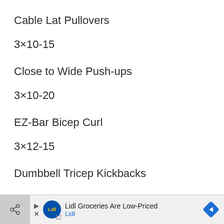Cable Lat Pullovers
3×10-15
Close to Wide Push-ups
3×10-20
EZ-Bar Bicep Curl
3×12-15
Dumbbell Tricep Kickbacks